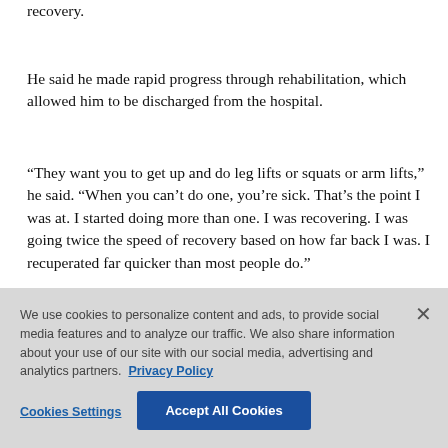recovery.
He said he made rapid progress through rehabilitation, which allowed him to be discharged from the hospital.
“They want you to get up and do leg lifts or squats or arm lifts,” he said. “When you can’t do one, you’re sick. That’s the point I was at. I started doing more than one. I was recovering. I was going twice the speed of recovery based on how far back I was. I recuperated far quicker than most people do.”
We use cookies to personalize content and ads, to provide social media features and to analyze our traffic. We also share information about your use of our site with our social media, advertising and analytics partners. Privacy Policy
Cookies Settings
Accept All Cookies